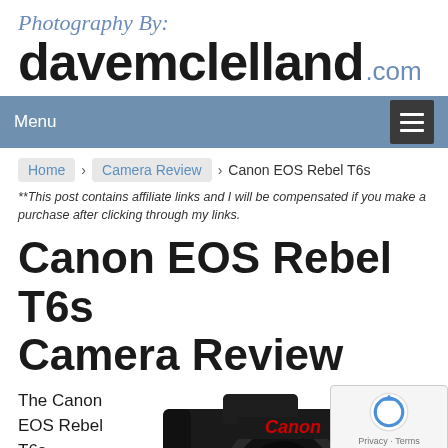Photography By: davemclelland.com
Menu
Home › Camera Review › Canon EOS Rebel T6s
**This post contains affiliate links and I will be compensated if you make a purchase after clicking through my links.
Canon EOS Rebel T6s Camera Review
The Canon EOS Rebel T6s represents a
[Figure (photo): Canon EOS Rebel T6s camera, top/front view, partial crop showing Canon logo and top of body]